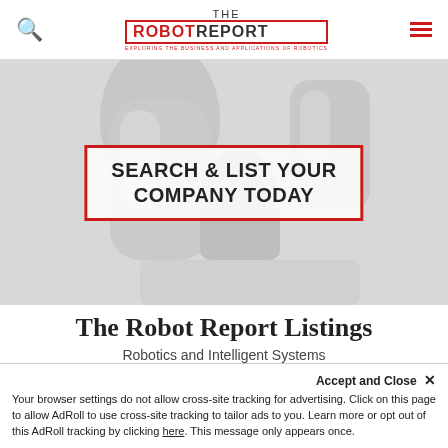THE ROBOT REPORT — EXPLORING THE BUSINESS AND APPLICATIONS OF ROBOTICS
[Figure (photo): Background image of robotic arm components in light grey/white, with a red-bordered call-to-action box overlaid reading SEARCH & LIST YOUR COMPANY TODAY]
The Robot Report Listings
Robotics and Intelligent Systems Company Listings Database.
Accept and Close ✕
Your browser settings do not allow cross-site tracking for advertising. Click on this page to allow AdRoll to use cross-site tracking to tailor ads to you. Learn more or opt out of this AdRoll tracking by clicking here. This message only appears once.